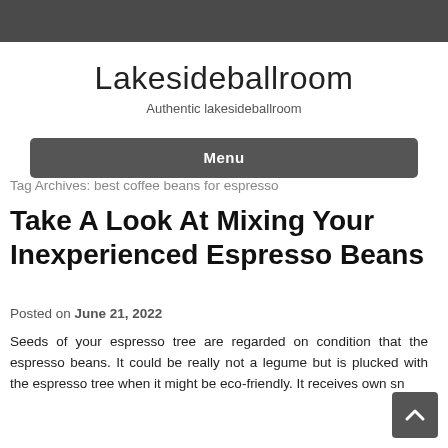Lakesideballroom
Authentic lakesideballroom
Menu
Tag Archives: best coffee beans for espresso
Take A Look At Mixing Your Inexperienced Espresso Beans
Posted on June 21, 2022
Seeds of your espresso tree are regarded on condition that the espresso beans. It could be really not a legume but is plucked with the espresso tree when it might be eco-friendly. It receives own sn...